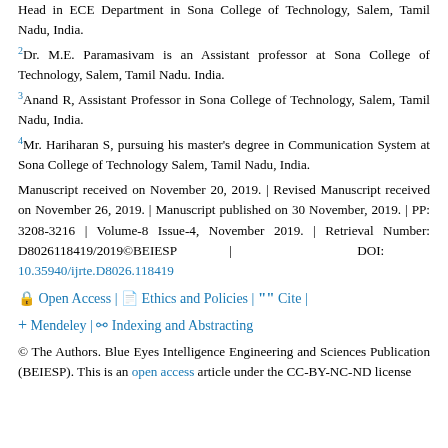Head in ECE Department in Sona College of Technology, Salem, Tamil Nadu, India.
2Dr. M.E. Paramasivam is an Assistant professor at Sona College of Technology, Salem, Tamil Nadu. India.
3Anand R, Assistant Professor in Sona College of Technology, Salem, Tamil Nadu, India.
4Mr. Hariharan S, pursuing his master's degree in Communication System at Sona College of Technology Salem, Tamil Nadu, India.
Manuscript received on November 20, 2019. | Revised Manuscript received on November 26, 2019. | Manuscript published on 30 November, 2019. | PP: 3208-3216 | Volume-8 Issue-4, November 2019. | Retrieval Number: D8026118419/2019©BEIESP | DOI: 10.35940/ijrte.D8026.118419
Open Access | Ethics and Policies | Cite | Mendeley | Indexing and Abstracting
© The Authors. Blue Eyes Intelligence Engineering and Sciences Publication (BEIESP). This is an open access article under the CC-BY-NC-ND license